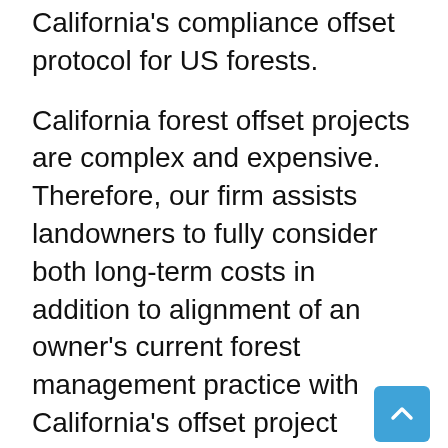California's compliance offset protocol for US forests.
California forest offset projects are complex and expensive. Therefore, our firm assists landowners to fully consider both long-term costs in addition to alignment of an owner's current forest management practice with California's offset project guidelines. If a project is economically feasible for development, a landowner usually works with a developer to manage their project through carbon inventory, growth and yield modeling, project documentation, independent verification, project registration, and offset sales. Some firms including our own cover all development expenses in exchange for